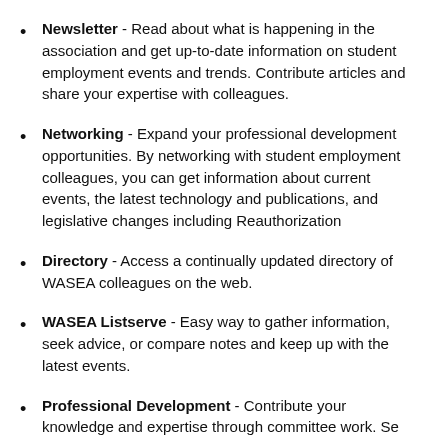Newsletter - Read about what is happening in the association and get up-to-date information on student employment events and trends. Contribute articles and share your expertise with colleagues.
Networking - Expand your professional development opportunities. By networking with student employment colleagues, you can get information about current events, the latest technology and publications, and legislative changes including Reauthorization
Directory - Access a continually updated directory of WASEA colleagues on the web.
WASEA Listserve - Easy way to gather information, seek advice, or compare notes and keep up with the latest events.
Professional Development - Contribute your knowledge and expertise through committee work. Se...